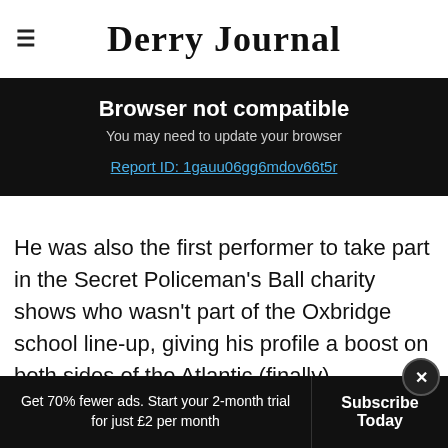Derry Journal
Browser not compatible
You may need to update your browser
Report ID: 1gauu06gg6mdov66t5r
He was also the first performer to take part in the Secret Policeman's Ball charity shows who wasn't part of the Oxbridge school line-up, giving his profile a boost on both sides of the Atlantic (finally).
Get 70% fewer ads. Start your 2-month trial for just £2 per month
Subscribe Today